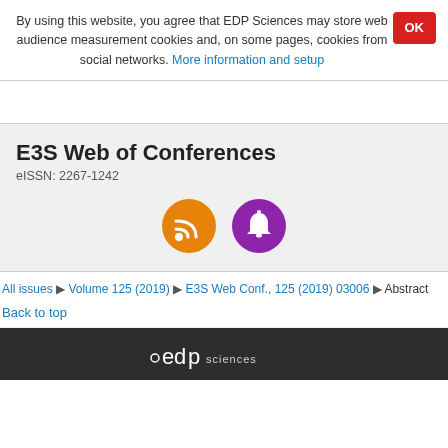By using this website, you agree that EDP Sciences may store web audience measurement cookies and, on some pages, cookies from social networks. More information and setup
E3S Web of Conferences
eISSN: 2267-1242
[Figure (illustration): Two circular icon buttons: an orange RSS feed icon and a purple notification bell icon]
All issues ▶ Volume 125 (2019) ▶ E3S Web Conf., 125 (2019) 03006 ▶ Abstract
Back to top
edp sciences